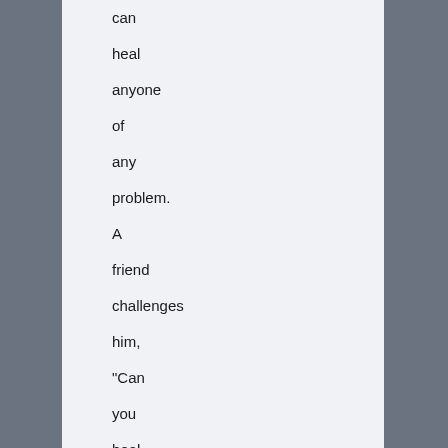can heal anyone of any problem. A friend challenges him, "Can you heal a married couple?" "Sure, I can," the healer replies. "Well, what if the couple don't want to be...